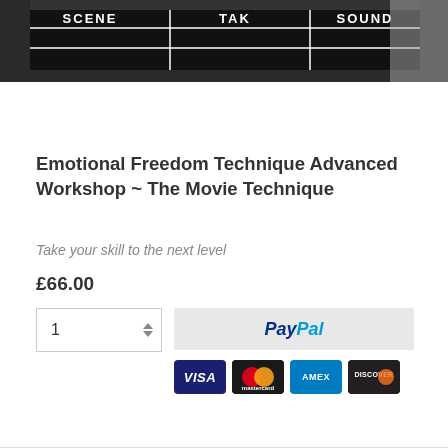[Figure (photo): A close-up photo of a film clapperboard showing SCENE, TAKE, and SOUND labels in white text on black background]
Emotional Freedom Technique Advanced Workshop ~ The Movie Technique
Take your skill to the next level
£66.00
[Figure (other): PayPal checkout button with quantity selector (value: 1) and payment card logos (Visa, Mastercard, AMEX, Discover)]